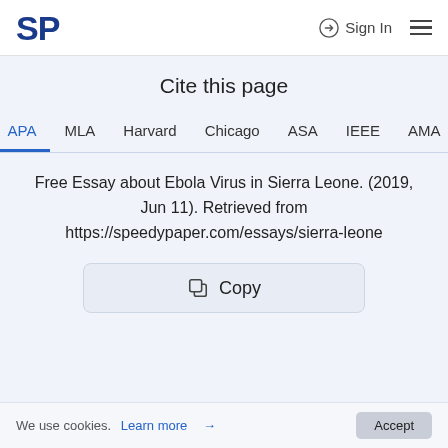SP  Sign In
Cite this page
APA  MLA  Harvard  Chicago  ASA  IEEE  AMA
Free Essay about Ebola Virus in Sierra Leone. (2019, Jun 11). Retrieved from https://speedypaper.com/essays/sierra-leone
Copy
We use cookies. Learn more →  Accept